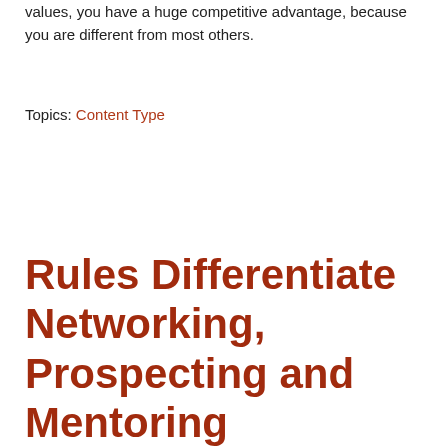values, you have a huge competitive advantage, because you are different from most others.
Topics: Content Type
Rules Differentiate Networking, Prospecting and Mentoring